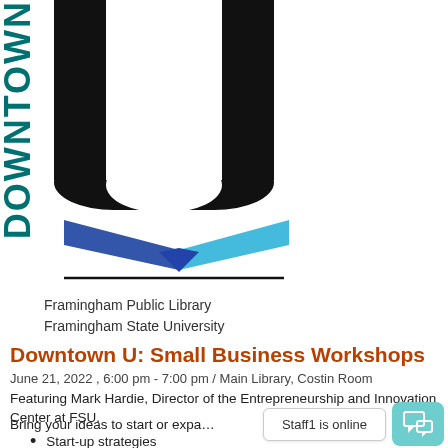[Figure (logo): Downtown U logo: large black U shape, teal vertical DOWNTOWN text on left, blue/cyan book pages below U, horizontal black line, and institution names below]
Framingham Public Library
Framingham State University
Downtown U: Small Business Workshops
June 21, 2022 , 6:00 pm - 7:00 pm / Main Library, Costin Room
Featuring Mark Hardie, Director of the Entrepreneurship and Innovation Center at FSU.
Bring your ideas to start or expa…
Start-up strategies